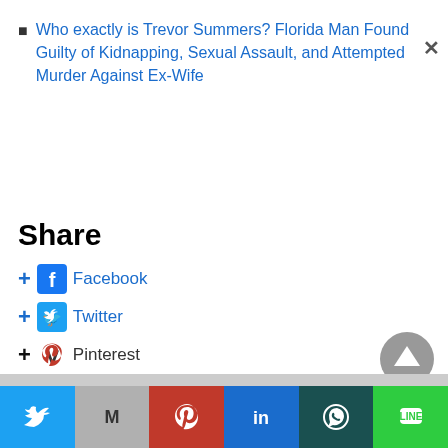Who exactly is Trevor Summers? Florida Man Found Guilty of Kidnapping, Sexual Assault, and Attempted Murder Against Ex-Wife
Share
Facebook
Twitter
Pinterest
LinkedIn